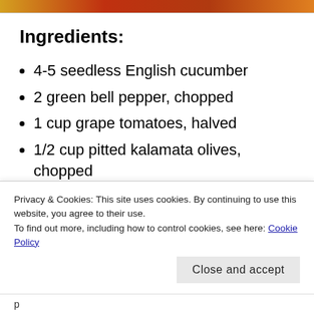[Figure (photo): Colorful food photo strip at the top of the page]
Ingredients:
4-5 seedless English cucumber
2 green bell pepper, chopped
1 cup grape tomatoes, halved
1/2 cup pitted kalamata olives, chopped
1 cup red onion, sliced thin on spiralizer
2 fresh lemon
Privacy & Cookies: This site uses cookies. By continuing to use this website, you agree to their use.
To find out more, including how to control cookies, see here: Cookie Policy